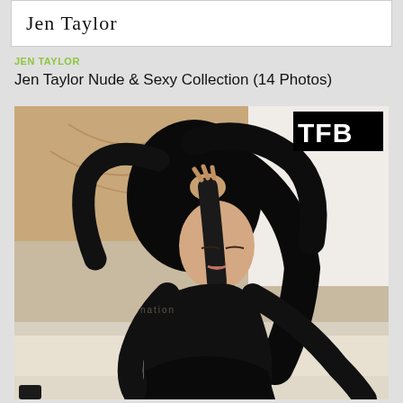Jen Taylor
JEN TAYLOR
Jen Taylor Nude & Sexy Collection (14 Photos)
[Figure (photo): A woman with long dark hair wearing a black long-sleeve dress, posing on a white couch, with TFB watermark in top right corner]